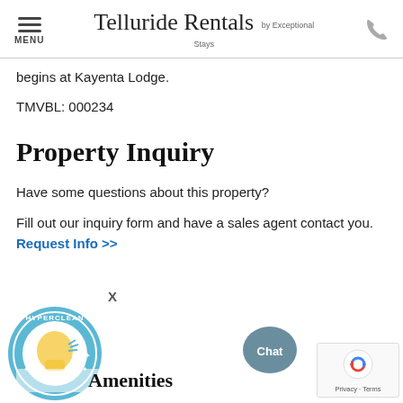Telluride Rentals by Exceptional Stays
begins at Kayenta Lodge.
TMVBL: 000234
Property Inquiry
Have some questions about this property?
Fill out our inquiry form and have a sales agent contact you. Request Info >>
[Figure (logo): HyperClean circular badge logo with cleaning spray bottle graphic]
Amenities
[Figure (illustration): Chat speech bubble button in dark teal/gray color]
[Figure (logo): Google reCAPTCHA logo with Privacy - Terms text]